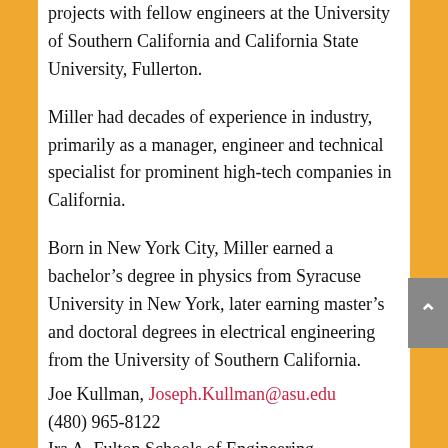projects with fellow engineers at the University of Southern California and California State University, Fullerton.
Miller had decades of experience in industry, primarily as a manager, engineer and technical specialist for prominent high-tech companies in California.
Born in New York City, Miller earned a bachelor’s degree in physics from Syracuse University in New York, later earning master’s and doctoral degrees in electrical engineering from the University of Southern California.
Joe Kullman, Joseph.Kullman@asu.edu
(480) 965-8122
Ira A. Fulton Schools of Engineering